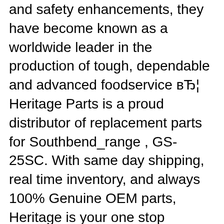and safety enhancements, they have become known as a worldwide leader in the production of tough, dependable and advanced foodservice вЂ¦ Heritage Parts is a proud distributor of replacement parts for Southbend_range , GS-25SC. With same day shipping, real time inventory, and always 100% Genuine OEM parts, Heritage is your one stop destination for commercial kitchen replacement parts. Right Part, Right Time, Every Time!
: Southbend Southbend-Gb-12Cch-Users-Manual-447662 southbend-gb-12cch-users-manual-447662 southbend pdf SLGB15CCH to the manual b47873c7-b89d-4955-9bf9-